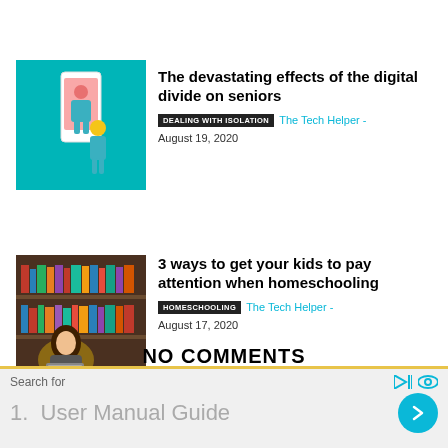[Figure (photo): Teal/cyan background illustration showing a person on a smartphone screen]
The devastating effects of the digital divide on seniors
DEALING WITH ISOLATION  The Tech Helper - August 19, 2020
[Figure (photo): Photo of a young woman with long hair working on a laptop in a library]
3 ways to get your kids to pay attention when homeschooling
HOMESCHOOLING  The Tech Helper - August 17, 2020
NO COMMENTS
Search for
1.  User Manual Guide